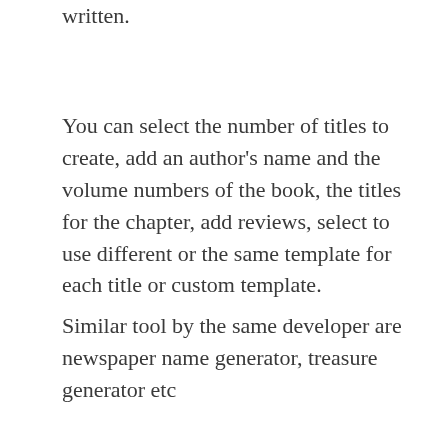written.
You can select the number of titles to create, add an author's name and the volume numbers of the book, the titles for the chapter, add reviews, select to use different or the same template for each title or custom template.
Similar tool by the same developer are newspaper name generator, treasure generator etc